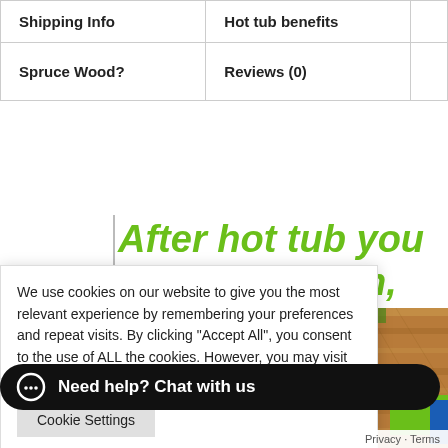| Shipping Info | Hot tub benefits |
| Spruce Wood? | Reviews (0) |
After hot tub you will feel reborn, the spirit will feel rested.
We use cookies on our website to give you the most relevant experience by remembering your preferences and repeat visits. By clicking “Accept All”, you consent to the use of ALL the cookies. However, you may visit “Cookie Settings” to provide a controlled consent.
Cookie Settings
Need help? Chat with us
Privacy · Terms